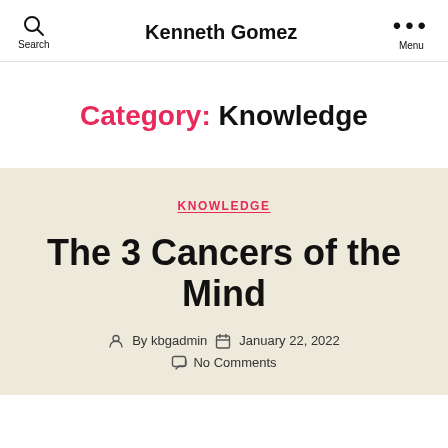Kenneth Gomez
Category: Knowledge
KNOWLEDGE
The 3 Cancers of the Mind
By kbgadmin  January 22, 2022  No Comments